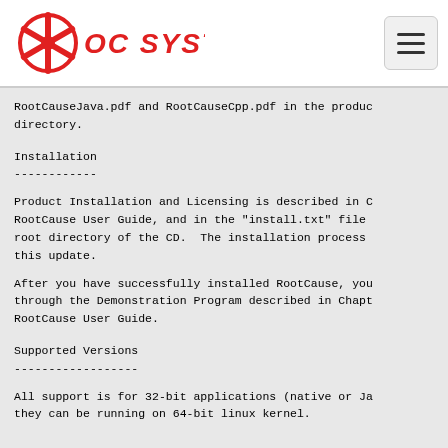OC SYSTEMS
RootCauseJava.pdf and RootCauseCpp.pdf in the product directory.
Installation
------------
Product Installation and Licensing is described in the RootCause User Guide, and in the "install.txt" file in the root directory of the CD.  The installation process for this update.
After you have successfully installed RootCause, you through the Demonstration Program described in Chapter of RootCause User Guide.
Supported Versions
------------------
All support is for 32-bit applications (native or Java) they can be running on 64-bit linux kernel.